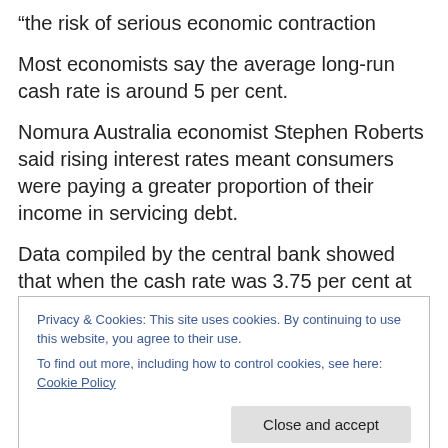“the risk of serious economic contraction
Most economists say the average long-run cash rate is around 5 per cent.
Nomura Australia economist Stephen Roberts said rising interest rates meant consumers were paying a greater proportion of their income in servicing debt.
Data compiled by the central bank showed that when the cash rate was 3.75 per cent at the and of the December quarter of 2009, the average household was paying more
Privacy & Cookies: This site uses cookies. By continuing to use this website, you agree to their use.
To find out more, including how to control cookies, see here: Cookie Policy
nine per cent of its income on interest payments.